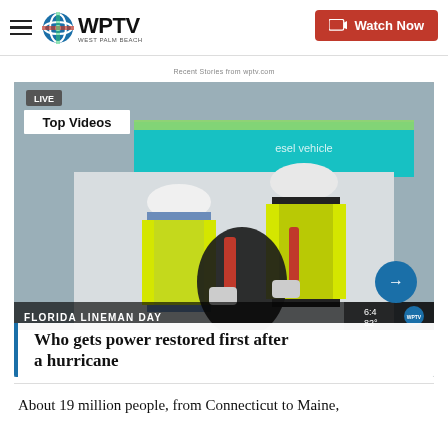WPTV West Palm Beach — Watch Now
Recent Stories from wptv.com
[Figure (screenshot): TV news screenshot showing two utility workers in yellow safety vests and white hard hats working on electrical equipment near a truck. Overlaid text reads 'LIVE', 'Top Videos', 'FLORIDA LINEMAN DAY', time 6:45, temperature 82°, WPTV logo, and an arrow navigation button.]
Who gets power restored first after a hurricane
About 19 million people, from Connecticut to Maine,